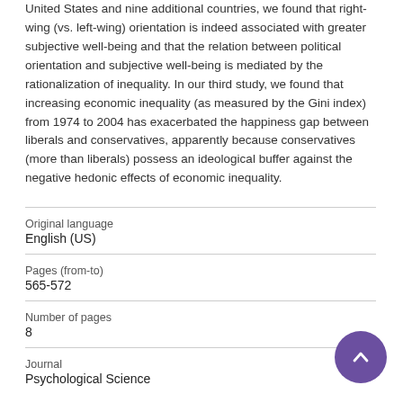United States and nine additional countries, we found that right-wing (vs. left-wing) orientation is indeed associated with greater subjective well-being and that the relation between political orientation and subjective well-being is mediated by the rationalization of inequality. In our third study, we found that increasing economic inequality (as measured by the Gini index) from 1974 to 2004 has exacerbated the happiness gap between liberals and conservatives, apparently because conservatives (more than liberals) possess an ideological buffer against the negative hedonic effects of economic inequality.
| Original language | English (US) |
| Pages (from-to) | 565-572 |
| Number of pages | 8 |
| Journal | Psychological Science |